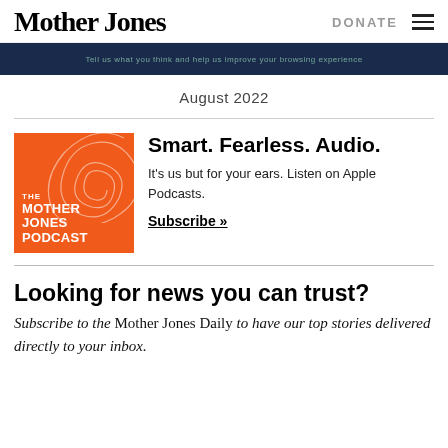Mother Jones | DONATE
[Figure (screenshot): Dark navy banner strip with faint text]
August 2022
[Figure (illustration): Mother Jones Podcast orange square logo with white swirl graphic]
Smart. Fearless. Audio.
It's us but for your ears. Listen on Apple Podcasts.
Subscribe »
Looking for news you can trust?
Subscribe to the Mother Jones Daily to have our top stories delivered directly to your inbox.